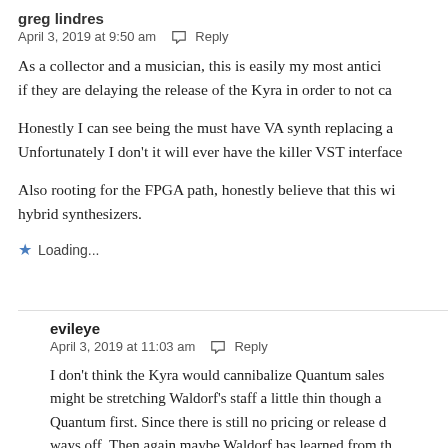greg lindres
April 3, 2019 at 9:50 am  Reply
As a collector and a musician, this is easily my most antici if they are delaying the release of the Kyra in order to not ca
Honestly I can see being the must have VA synth replacing a Unfortunately I don't it will ever have the killer VST interface
Also rooting for the FPGA path, honestly believe that this wi hybrid synthesizers.
Loading...
evileye
April 3, 2019 at 11:03 am  Reply
I don't think the Kyra would cannibalize Quantum sales might be stretching Waldorf's staff a little thin though a Quantum first. Since there is still no pricing or release d ways off. Then again maybe Waldorf has learned from th